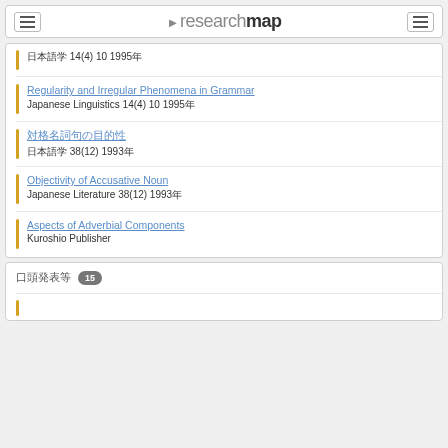researchmap
日本語学 14(4) 10 1995年
Regularity and Irregular Phenomena in Grammar
Japanese Linguistics 14(4) 10 1995年
対格名詞句の目的性
日本語学 38(12) 1993年
Objectivity of Accusative Noun
Japanese Literature 38(12) 1993年
Aspects of Adverbial Components
Kuroshio Publisher
口頭発表等 15